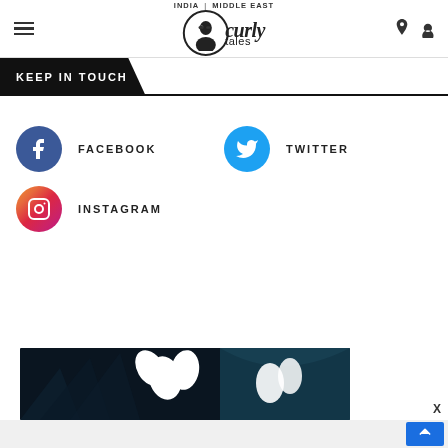Curly Tales — INDIA | MIDDLE EAST
KEEP IN TOUCH
FACEBOOK
TWITTER
INSTAGRAM
[Figure (screenshot): Dark background image with white lotus/flower shapes (Adidas-style trefoil logo area), bottom portion of webpage]
Back to top button